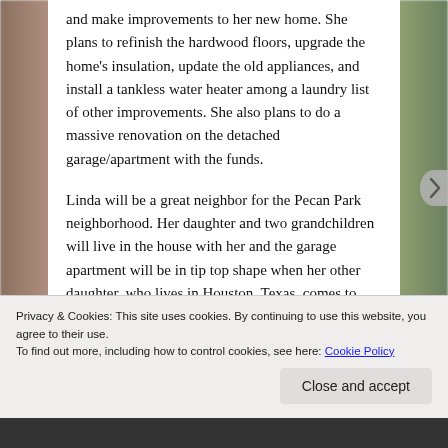and make improvements to her new home. She plans to refinish the hardwood floors, upgrade the home's insulation, update the old appliances, and install a tankless water heater among a laundry list of other improvements. She also plans to do a massive renovation on the detached garage/apartment with the funds.
Linda will be a great neighbor for the Pecan Park neighborhood. Her daughter and two grandchildren will live in the house with her and the garage apartment will be in tip top shape when her other daughter, who lives in Houston, Texas, comes to town to visit. She has done some great things in the
Privacy & Cookies: This site uses cookies. By continuing to use this website, you agree to their use.
To find out more, including how to control cookies, see here: Cookie Policy
Close and accept